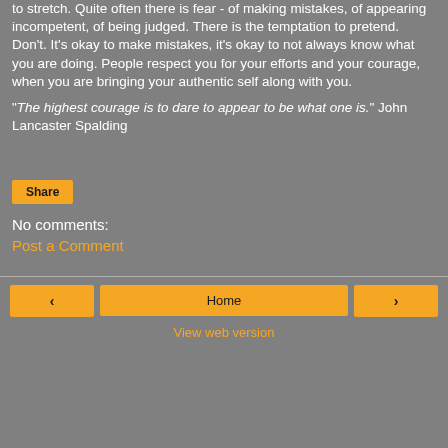to stretch. Quite often there is fear - of making mistakes, of appearing incompetent, of being judged. There is the temptation to pretend. Don't. It's okay to make mistakes, it's okay to not always know what you are doing. People respect you for your efforts and your courage, when you are bringing your authentic self along with you.
"The highest courage is to dare to appear to be what one is." John Lancaster Spalding
Share
No comments:
Post a Comment
‹   Home   ›   View web version